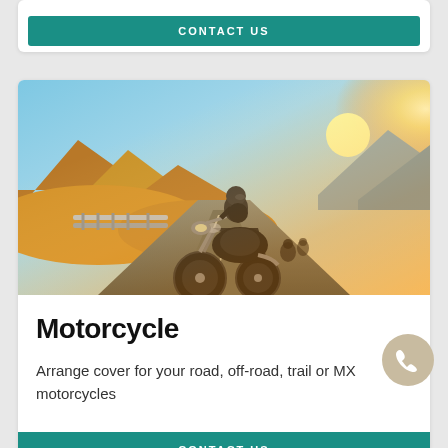CONTACT US
[Figure (photo): Motorcyclist riding a cruiser motorcycle on a scenic mountain highway at sunset, with golden light and mountain peaks in background, guardrails on the left side]
Motorcycle
Arrange cover for your road, off-road, trail or MX motorcycles
CONTACT US